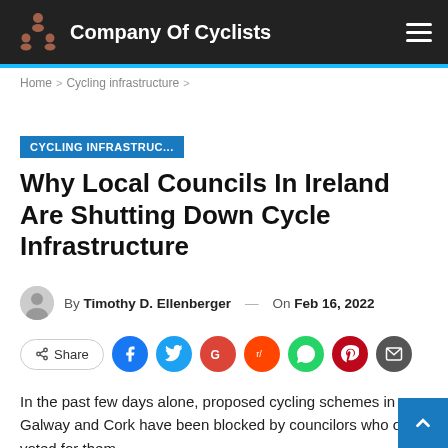Company Of Cyclists
Home > Cycling infrastructure >
CYCLING INFRASTRUC...
Why Local Councils In Ireland Are Shutting Down Cycle Infrastructure
By Timothy D. Ellenberger — On Feb 16, 2022
Share [social icons: Facebook, Twitter, Google, Reddit, WhatsApp, Pinterest, Email]
In the past few days alone, proposed cycling schemes in Galway and Cork have been blocked by councilors who once voted for them.